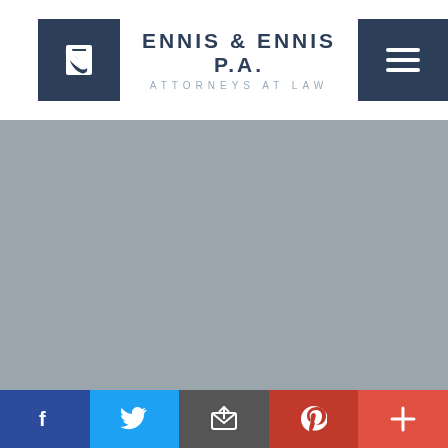ENNIS & ENNIS P.A. ATTORNEYS AT LAW
[Figure (infographic): Gray background main area with social media icons (Facebook, Twitter, Instagram, YouTube, Email), REACH OUT heading, and phone number (800) 856-6405]
[Figure (infographic): Bottom social share bar with Facebook, Twitter, Email, Pinterest, and More buttons]